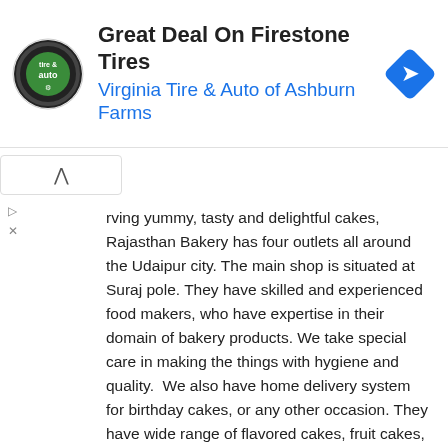[Figure (other): Advertisement banner for Virginia Tire & Auto of Ashburn Farms featuring Firestone Tires deal, with circular logo on left, text in center, and blue diamond arrow icon on right.]
rving yummy, tasty and delightful cakes, Rajasthan Bakery has four outlets all around the Udaipur city. The main shop is situated at Suraj pole. They have skilled and experienced food makers, who have expertise in their domain of bakery products. We take special care in making the things with hygiene and quality.  We also have home delivery system for birthday cakes, or any other occasion. They have wide range of flavored cakes, fruit cakes, birthday cakes, anniversary cakes, inauguration cakes, party cakes and bakery products.
We love to share your joy and happiness though our creamy cakes. So come to the world of cakes, Rajasthan bakery, the cake plaza is welcomes you.